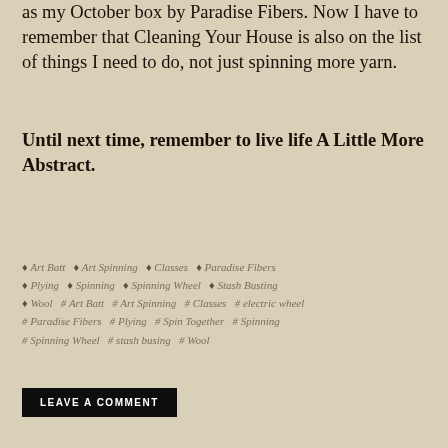as my October box by Paradise Fibers. Now I have to remember that Cleaning Your House is also on the list of things I need to do, not just spinning more yarn.
Until next time, remember to live life A Little More Abstract.
♦ Art Batt  ♦ Art Spinning  ♦ Classes  ♦ Paradise Fibers  ♦ Plying  ♦ Spinning  ♦ Spinning Wheel  ♦ Stash Busting  ♦ Wool  # Art Batt  # Art Spinning  # Classes  # electric wheel  # Paradise Fibers  # Plying  # Spin Together  # Spinning  # Spinning Wheel  # stash busing  # Wool
LEAVE A COMMENT